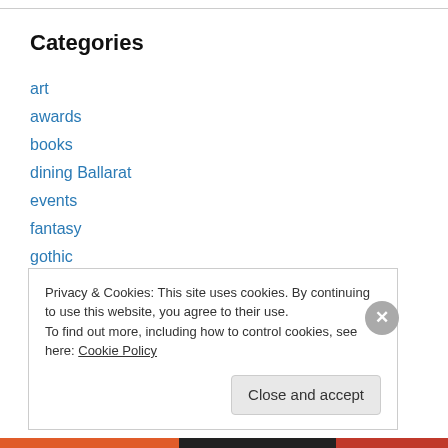Categories
art
awards
books
dining Ballarat
events
fantasy
gothic
horror
movies
music
Privacy & Cookies: This site uses cookies. By continuing to use this website, you agree to their use.
To find out more, including how to control cookies, see here: Cookie Policy
Close and accept